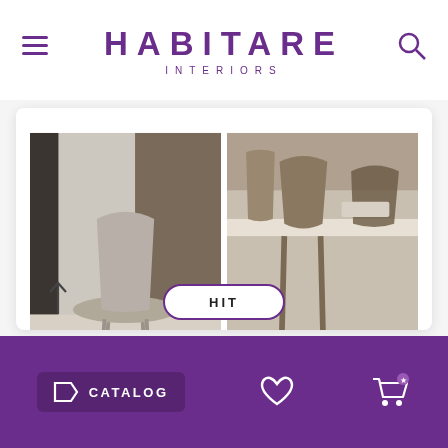HABITARE INTERIORS
[Figure (photo): Two photos of modern dining chairs: left shows a light beige upholstered chair against a neutral background; right shows wooden/leather chairs around a dining table in a showroom.]
HIT
CATALOG